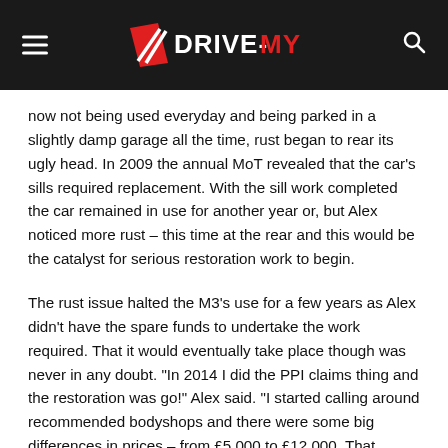DRIVE-MY
now not being used everyday and being parked in a slightly damp garage all the time, rust began to rear its ugly head. In 2009 the annual MoT revealed that the car’s sills required replacement. With the sill work completed the car remained in use for another year or, but Alex noticed more rust – this time at the rear and this would be the catalyst for serious restoration work to begin.
The rust issue halted the M3’s use for a few years as Alex didn’t have the spare funds to undertake the work required. That it would eventually take place though was never in any doubt. “In 2014 I did the PPI claims thing and the restoration was go!” Alex said. “I started calling around recommended bodyshops and there were some big differences in prices – from £5,000 to £12,000. That higher figure was just for paint